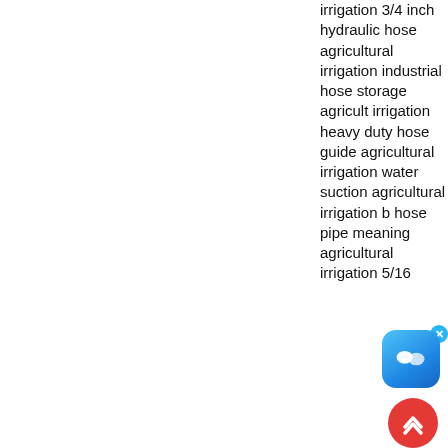irrigation 3/4 inch hydraulic hose agricultural irrigation industrial hose storage agricultural irrigation heavy duty hose guide agricultural irrigation water suction agricultural irrigation black hose pipe meaning agricultural irrigation 5/16